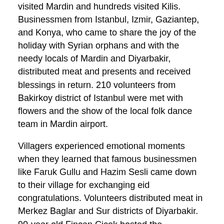visited Mardin and hundreds visited Kilis. Businessmen from Istanbul, Izmir, Gaziantep, and Konya, who came to share the joy of the holiday with Syrian orphans and with the needy locals of Mardin and Diyarbakir, distributed meat and presents and received blessings in return. 210 volunteers from Bakirkoy district of Istanbul were met with flowers and the show of the local folk dance team in Mardin airport.
Villagers experienced emotional moments when they learned that famous businessmen like Faruk Gullu and Hazim Sesli came down to their village for exchanging eid congratulations. Volunteers distributed meat in Merkez Baglar and Sur districts of Diyarbakir. 90-year old Fincan Cicek hosted the businessmen from Izmir in her house. Granny Fincan laid a table and treated the guests rice and chicken. Guests, who could not hold back tears, expressed that Granny Fincan did not just lay a table for them, but in fact she opened her heart to them. Granny Fincan who became a sister family with Karagoz family from Izmir, saw her guests off with blessings: “May God give us glory and honor, and raise you near the post of prophets [in the hereafter].”
55 Hizmet volunteers from Istanbul, Konya, and Gaziantep distributed meat and gifts to Syrian refugees in Kilis. They also visited shelters and hospitals hosting Syrians. Then, 4,000 people were treated a meal in social facilities of Kimse Yok Mu Association.